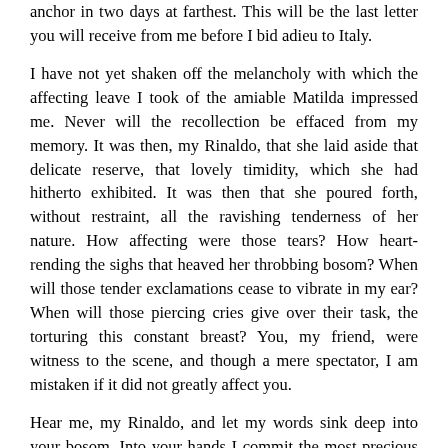anchor in two days at farthest. This will be the last letter you will receive from me before I bid adieu to Italy.
I have not yet shaken off the melancholy with which the affecting leave I took of the amiable Matilda impressed me. Never will the recollection be effaced from my memory. It was then, my Rinaldo, that she laid aside that delicate reserve, that lovely timidity, which she had hitherto exhibited. It was then that she poured forth, without restraint, all the ravishing tenderness of her nature. How affecting were those tears? How heart-rending the sighs that heaved her throbbing bosom? When will those tender exclamations cease to vibrate in my ear? When will those piercing cries give over their task, the torturing this constant breast? You, my friend, were witness to the scene, and though a mere spectator, I am mistaken if it did not greatly affect you.
Hear me, my Rinaldo, and let my words sink deep into your bosom. Into your hands I commit the most precious jewel that was ever intrusted to the custody of a friend. You are the arbiter of my fate. More, much more than my life is in your disposal. If you should betray me, you will commit a crime, that laughs to scorn the frivolity of all former baseness. You will inflict upon me a torture, in comparison of which all the laborious punishments that tyrants have invented, are couches of luxury, are beds of roses.